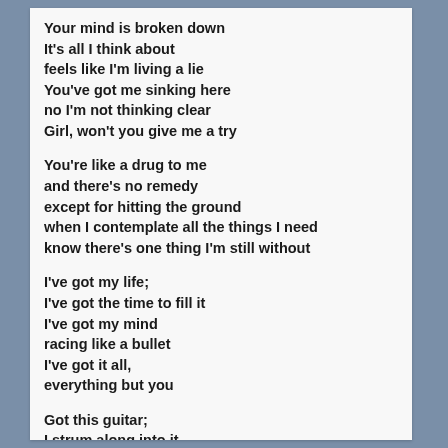Your mind is broken down
It's all I think about
feels like I'm living a lie
You've got me sinking here
no I'm not thinking clear
Girl, won't you give me a try

You're like a drug to me
and there's no remedy
except for hitting the ground
when I contemplate all the things I need
know there's one thing I'm still without

I've got my life;
I've got the time to fill it
I've got my mind
racing like a bullet
I've got it all,
everything but you

Got this guitar;
I strum along into it
We've got tonight;
let's turn it into music
I've got it all,
everything but you
everything but